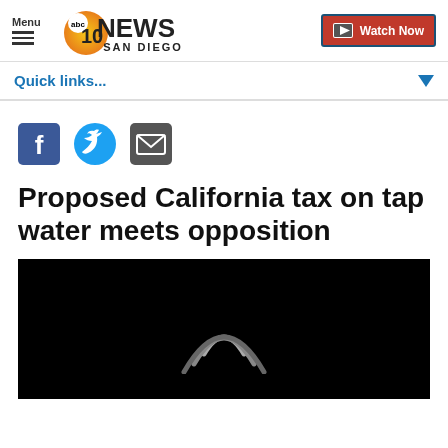Menu | abc 10 NEWS SAN DIEGO | Watch Now
Quick links...
[Figure (logo): Social share icons: Facebook, Twitter, Email]
Proposed California tax on tap water meets opposition
[Figure (screenshot): Black video thumbnail with wifi/loading arc icon in center]